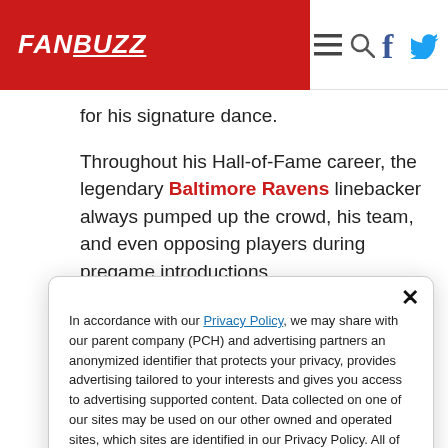FANBUZZ navigation header with logo, menu, search, Facebook and Twitter icons
for his signature dance.
Throughout his Hall-of-Fame career, the legendary Baltimore Ravens linebacker always pumped up the crowd, his team, and even opposing players during pregame introductions.
In accordance with our Privacy Policy, we may share with our parent company (PCH) and advertising partners an anonymized identifier that protects your privacy, provides advertising tailored to your interests and gives you access to advertising supported content. Data collected on one of our sites may be used on our other owned and operated sites, which sites are identified in our Privacy Policy. All of our sites are governed by the same Privacy Policy, and by proceeding to access this site, you are consenting to that Privacy Policy.